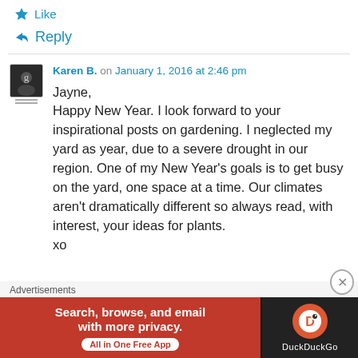Like
Reply
Karen B. on January 1, 2016 at 2:46 pm
Jayne,
Happy New Year. I look forward to your inspirational posts on gardening. I neglected my yard as year, due to a severe drought in our region. One of my New Year's goals is to get busy on the yard, one space at a time. Our climates aren't dramatically different so always read, with interest, your ideas for plants.
xo
Advertisements
[Figure (screenshot): DuckDuckGo advertisement banner: orange/red left section with text 'Search, browse, and email with more privacy. All in One Free App' and dark right section with DuckDuckGo logo and name.]